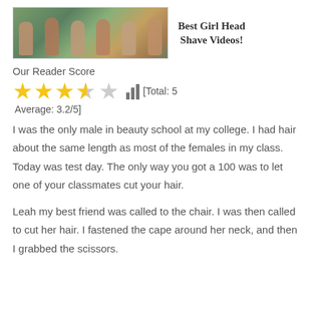[Figure (photo): A photo showing multiple people (women with shaved or bald heads) outdoors among trees, used as a thumbnail for a video link.]
Best Girl Head Shave Videos!
Our Reader Score
[Figure (other): Star rating display showing 3 full stars, 1 half star, 1 empty star, and a bar chart icon. [Total: 5  Average: 3.2/5]]
I was the only male in beauty school at my college. I had hair about the same length as most of the females in my class. Today was test day. The only way you got a 100 was to let one of your classmates cut your hair.
Leah my best friend was called to the chair. I was then called to cut her hair. I fastened the cape around her neck, and then I grabbed the scissors.